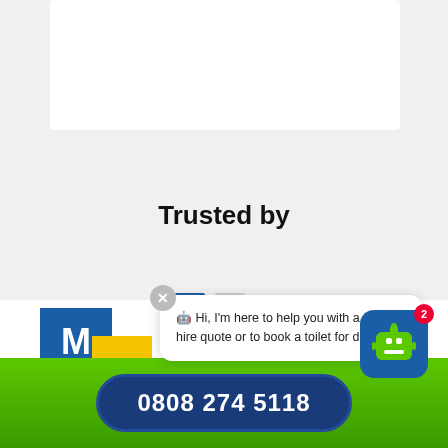[Figure (screenshot): White card area at top of page, partially visible]
Trusted by
[Figure (logo): MKM Building Supplies logo — blue M, yellow accent, BUILDING text in blue]
[Figure (screenshot): Chat bubble overlay: Hi, I'm here to help you with a toilet hire quote or to book a toilet for delivery!]
[Figure (illustration): Robot chatbot icon with notification badge showing 2]
0808 274 5118